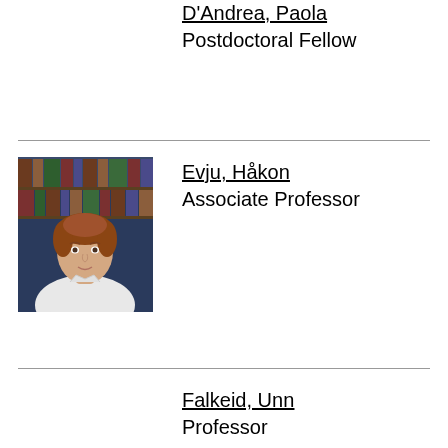D'Andrea, Paola
Postdoctoral Fellow
[Figure (photo): Photo of Evju, Håkon — a young man with short reddish-brown hair, seated in front of bookshelves filled with books]
Evju, Håkon
Associate Professor
Falkeid, Unn
Professor